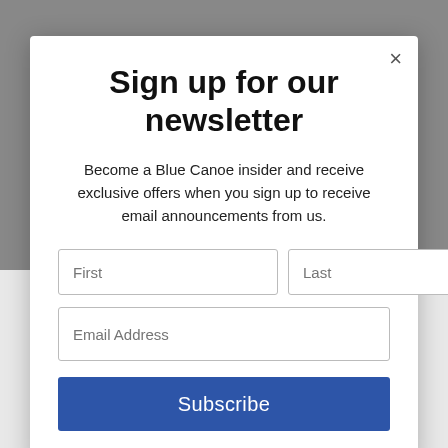Sign up for our newsletter
Become a Blue Canoe insider and receive exclusive offers when you sign up to receive email announcements from us.
First | Last | Email Address | Subscribe